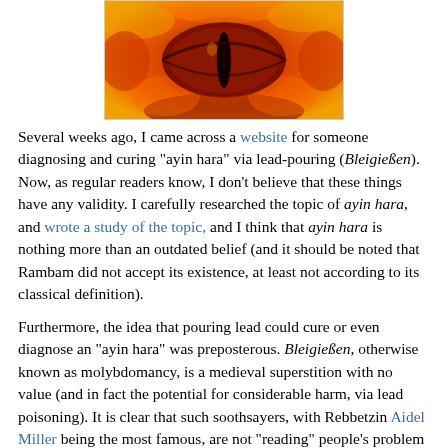[Figure (photo): Close-up image of a fiery, dragon-like eye with orange and red flames surrounding a dark slit pupil — resembles the Eye of Sauron motif.]
Several weeks ago, I came across a website for someone diagnosing and curing "ayin hara" via lead-pouring (Bleigießen). Now, as regular readers know, I don't believe that these things have any validity. I carefully researched the topic of ayin hara, and wrote a study of the topic, and I think that ayin hara is nothing more than an outdated belief (and it should be noted that Rambam did not accept its existence, at least not according to its classical definition).
Furthermore, the idea that pouring lead could cure or even diagnose an "ayin hara" was preposterous. Bleigießen, otherwise known as molybdomancy, is a medieval superstition with no value (and in fact the potential for considerable harm, via lead poisoning). It is clear that such soothsayers, with Rebbetzin Aidel Miller being the most famous, are not "reading" people's problem at all; instead, it is a combination of subconscious cold-reading by the practitioner (whereby they give vague guesses and are able